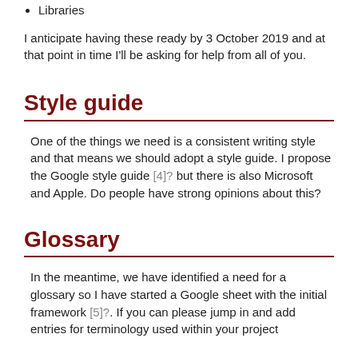Libraries
I anticipate having these ready by 3 October 2019 and at that point in time I'll be asking for help from all of you.
Style guide
One of the things we need is a consistent writing style and that means we should adopt a style guide. I propose the Google style guide [4]? but there is also Microsoft and Apple. Do people have strong opinions about this?
Glossary
In the meantime, we have identified a need for a glossary so I have started a Google sheet with the initial framework [5]?. If you can please jump in and add entries for terminology used within your project